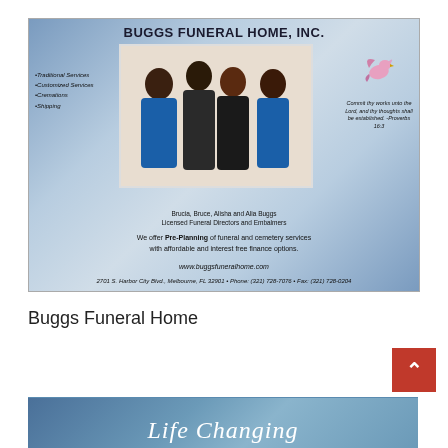[Figure (advertisement): Buggs Funeral Home advertisement with blue/silver gradient background. Shows the company name 'BUGGS FUNERAL HOME, INC.' at top, a center family photo of four people (Brucia, Bruce, Alisha and Alia Buggs) in blue and black attire, a dove illustration with a biblical quote on the right, bullet list of services on the left, pre-planning offer text, website, and address.]
Buggs Funeral Home
[Figure (other): Partial view of a second advertisement with blue gradient background and white italic cursive text that appears to read 'Life Changing']